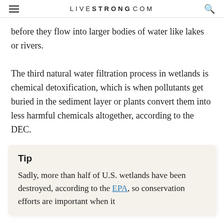LIVESTRONG.COM
before they flow into larger bodies of water like lakes or rivers.
The third natural water filtration process in wetlands is chemical detoxification, which is when pollutants get buried in the sediment layer or plants convert them into less harmful chemicals altogether, according to the DEC.
Tip
Sadly, more than half of U.S. wetlands have been destroyed, according to the EPA, so conservation efforts are important when it